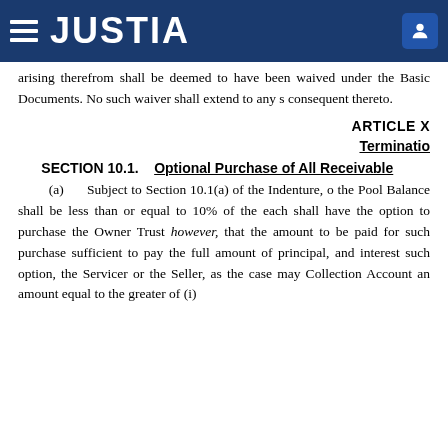JUSTIA
arising therefrom shall be deemed to have been waived under the Basic Documents. No such waiver shall extend to any subsequent or consequent thereto.
ARTICLE X
Termination
SECTION 10.1.   Optional Purchase of All Receivable
Subject to Section 10.1(a) of the Indenture, on the day when the Pool Balance shall be less than or equal to 10% of the original amount, each shall have the option to purchase the Owner Trust; provided, however, that the amount to be paid for such purchase shall be sufficient to pay the full amount of principal, and interest. Upon exercise of such option, the Servicer or the Seller, as the case may be, shall deposit in the Collection Account an amount equal to the greater of (i)